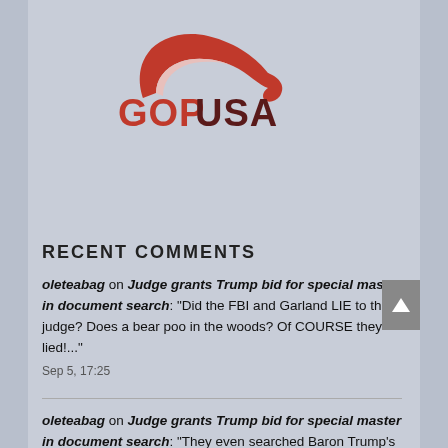[Figure (logo): GOPUSA logo — red swoosh/elephant trunk shape above bold red and dark red text reading GOPUSA]
RECENT COMMENTS
oleteabag on Judge grants Trump bid for special master in document search: "Did the FBI and Garland LIE to the judge? Does a bear poo in the woods? Of COURSE they lied!..." Sep 5, 17:25
oleteabag on Judge grants Trump bid for special master in document search: "They even searched Baron Trump's room and Melania's closet, and ALSO outright STOLE